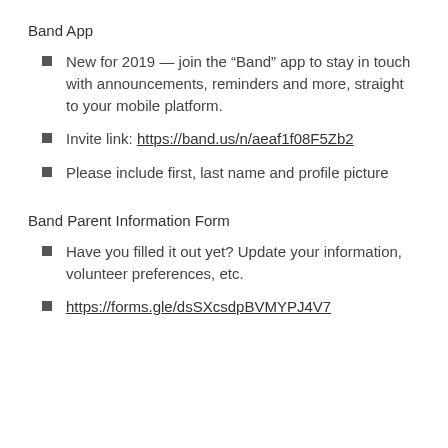Band App
New for 2019 — join the “Band” app to stay in touch with announcements, reminders and more, straight to your mobile platform.
Invite link: https://band.us/n/aeaf1f08F5Zb2
Please include first, last name and profile picture
Band Parent Information Form
Have you filled it out yet? Update your information, volunteer preferences, etc.
https://forms.gle/dsSXcsdpBVMYPJ4V7